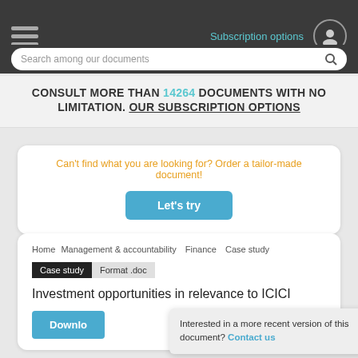Subscription options
Search among our documents
CONSULT MORE THAN 14264 DOCUMENTS WITH NO LIMITATION. OUR SUBSCRIPTION OPTIONS
Can't find what you are looking for? Order a tailor-made document!
Let's try
Home   Management & accountability   Finance   Case study
Case study   Format .doc
Investment op...portunities in relevance to ICICI
Download
Interested in a more recent version of this document? Contact us